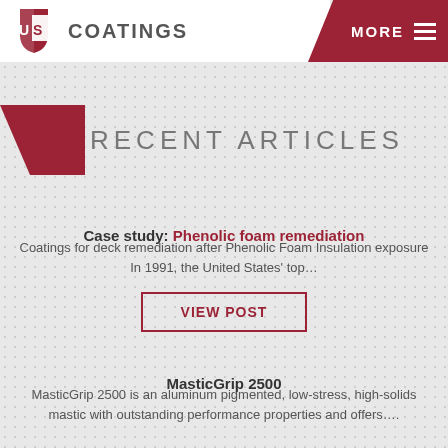US COATINGS | MORE
RECENT ARTICLES
Case study: Phenolic foam remediation
Coatings for deck remediation after Phenolic Foam Insulation exposure In 1991, the United States' top…
VIEW POST
MasticGrip 2500
MasticGrip 2500 is an aluminum pigmented, low-stress, high-solids mastic with outstanding performance properties and offers….